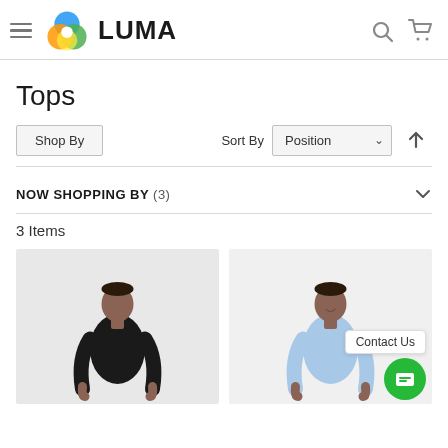[Figure (logo): Luma logo with colorful ring icon and LUMA text]
Tops
Shop By  Sort By  Position
NOW SHOPPING BY (3)
3 Items
[Figure (photo): Man wearing black sleeveless top]
[Figure (photo): Man wearing light blue sleeveless top]
Contact Us